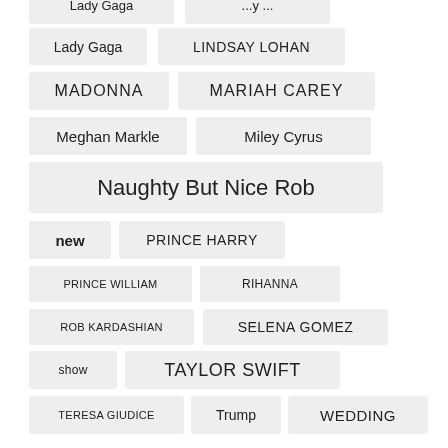Lady Gaga
LINDSAY LOHAN
MADONNA
MARIAH CAREY
Meghan Markle
Miley Cyrus
Naughty But Nice Rob
new
PRINCE HARRY
PRINCE WILLIAM
RIHANNA
ROB KARDASHIAN
SELENA GOMEZ
show
TAYLOR SWIFT
TERESA GIUDICE
Trump
WEDDING